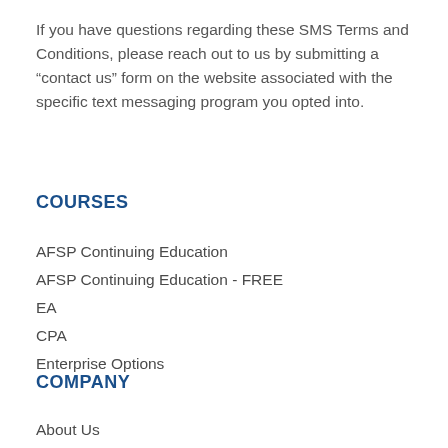If you have questions regarding these SMS Terms and Conditions, please reach out to us by submitting a “contact us” form on the website associated with the specific text messaging program you opted into.
COURSES
AFSP Continuing Education
AFSP Continuing Education - FREE
EA
CPA
Enterprise Options
COMPANY
About Us